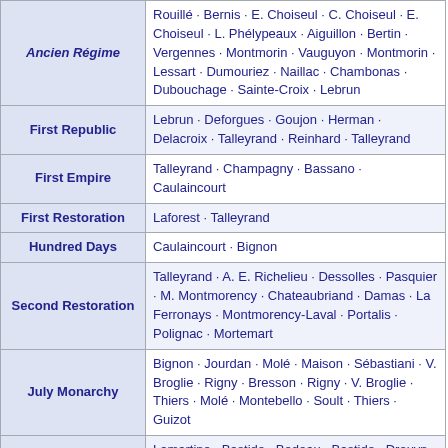| Era | Ministers |
| --- | --- |
| Ancien Régime | Rouillé · Bernis · E. Choiseul · C. Choiseul · E. Choiseul · L. Phélypeaux · Aiguillon · Bertin · Vergennes · Montmorin · Vauguyon · Montmorin · Lessart · Dumouriez · Naillac · Chambonas · Dubouchage · Sainte-Croix · Lebrun |
| First Republic | Lebrun · Deforgues · Goujon · Herman · Delacroix · Talleyrand · Reinhard · Talleyrand |
| First Empire | Talleyrand · Champagny · Bassano · Caulaincourt |
| First Restoration | Laforest · Talleyrand |
| Hundred Days | Caulaincourt · Bignon |
| Second Restoration | Talleyrand · A. E. Richelieu · Dessolles · Pasquier · M. Montmorency · Chateaubriand · Damas · La Ferronays · Montmorency-Laval · Portalis · Polignac · Mortemart |
| July Monarchy | Bignon · Jourdan · Molé · Maison · Sébastiani · V. Broglie · Rigny · Bresson · Rigny · V. Broglie · Thiers · Molé · Montebello · Soult · Thiers · Guizot |
| Second Republic | Lamartine · Bastide · Bedeau · Bastide · Drouyn de Lhuys · Tocqueville · Rayneval · La Hitte · Drouyn de Lhuys · Brénier · Baroche |